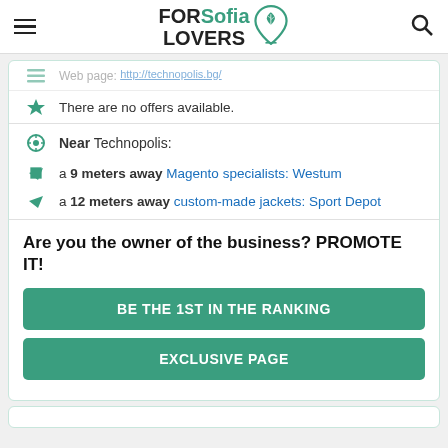FORSofia LOVERS
Web page: http://technopolis.bg/
There are no offers available.
Near Technopolis:
a 9 meters away Magento specialists: Westum
a 12 meters away custom-made jackets: Sport Depot
Are you the owner of the business? PROMOTE IT!
BE THE 1ST IN THE RANKING
EXCLUSIVE PAGE